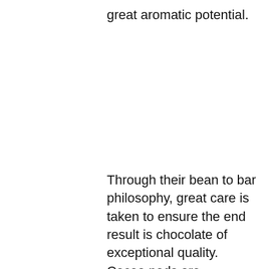great aromatic potential.
Through their bean to bar philosophy, great care is taken to ensure the end result is chocolate of exceptional quality. Cocoa pods are harvested only when ripe to preserve the tree and extend its lifetime. Also, by roasting in batches, flavour precursors can develop, and each origin is unadulterated.
In our Sunday Folks kitchen, we use Valrhona chocolate in our handcrafted confectionery — as a milk chocolate slab with passionfruit